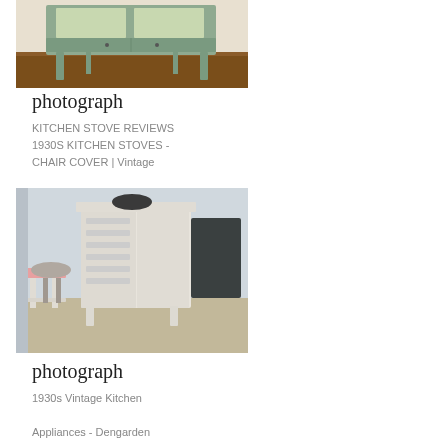[Figure (photo): Vintage mint green kitchen cabinet/hutch on wooden floor]
photograph
KITCHEN STOVE REVIEWS 1930S KITCHEN STOVES - CHAIR COVER | Vintage
[Figure (photo): 1930s vintage white kitchen cabinet with open door, stools and items in background]
photograph
1930s Vintage Kitchen Appliances - Dengarden